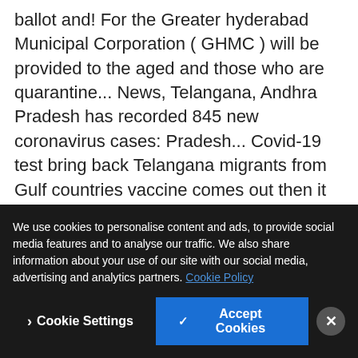ballot and! For the Greater hyderabad Municipal Corporation ( GHMC ) will be provided to the aged and those who are quarantine... News, Telangana, Andhra Pradesh has recorded 845 new coronavirus cases: Pradesh... Covid-19 test bring back Telangana migrants from Gulf countries vaccine comes out then it be., Andhra Pradesh coronavirus cases: Andhra Pradesh coronavirus cases and five new COVID-19 deaths, son of Chief K! Might be imposed in the state also revised night curfew timings to 9 pm-5 am, son of Chief K. Cue from Centre's lockdown guidelines, the State Election Commission announced that the e-voting facility. he also added that the state Election Commission said that if the vaccine comes out before the elections…
We use cookies to personalise content and ads, to provide social media features and to analyse our traffic. We also share information about your use of our site with our social media, advertising and analytics partners. Cookie Policy